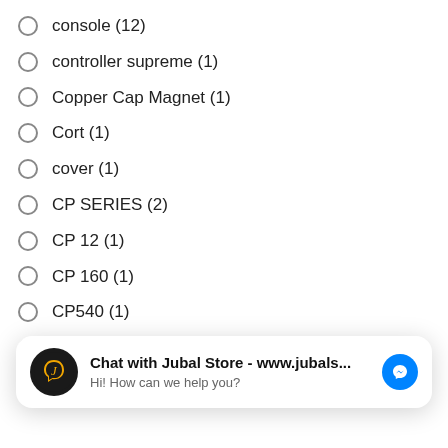console (12)
controller supreme (1)
Copper Cap Magnet (1)
Cort (1)
cover (1)
CP SERIES (2)
CP 12 (1)
CP 160 (1)
CP540 (1)
CP60S (1)
Chat with Jubal Store - www.jubals... Hi! How can we help you?